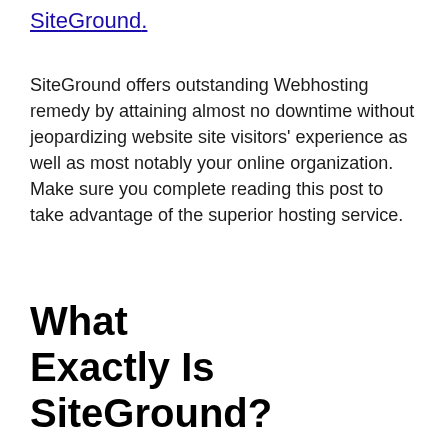SiteGround.
SiteGround offers outstanding Webhosting remedy by attaining almost no downtime without jeopardizing website site visitors' experience as well as most notably your online organization. Make sure you complete reading this post to take advantage of the superior hosting service.
What Exactly Is SiteGround?
[Figure (screenshot): Partial screenshot of a website interface showing a light blue content area at bottom, a gray scroll-to-top button with up arrow, and a partially visible dropdown menu with items including 'WordPress Id', 'Manage Extras', and 'Manage Users']